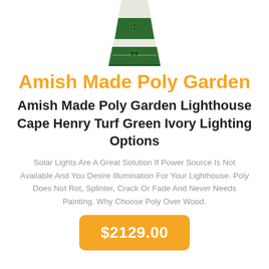[Figure (photo): Product photo of a green and ivory lighthouse, shown from slightly above, truncated at the top of the page.]
Amish Made Poly Garden
Amish Made Poly Garden Lighthouse Cape Henry Turf Green Ivory Lighting Options
Solar Lights Are A Great Solution If Power Source Is Not Available And You Desire Illumination For Your Lighthouse. Poly Does Not Rot, Splinter, Crack Or Fade And Never Needs Painting. Why Choose Poly Over Wood.
$2129.00